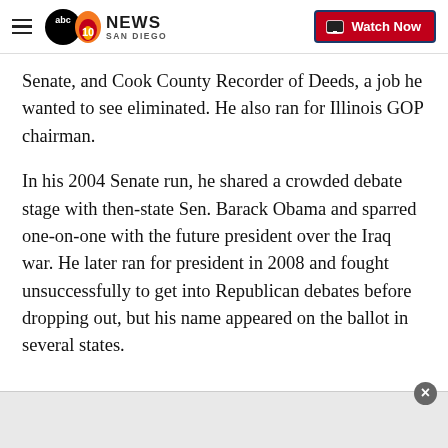ABC 10News San Diego — Watch Now
Senate, and Cook County Recorder of Deeds, a job he wanted to see eliminated. He also ran for Illinois GOP chairman.
In his 2004 Senate run, he shared a crowded debate stage with then-state Sen. Barack Obama and sparred one-on-one with the future president over the Iraq war. He later ran for president in 2008 and fought unsuccessfully to get into Republican debates before dropping out, but his name appeared on the ballot in several states.